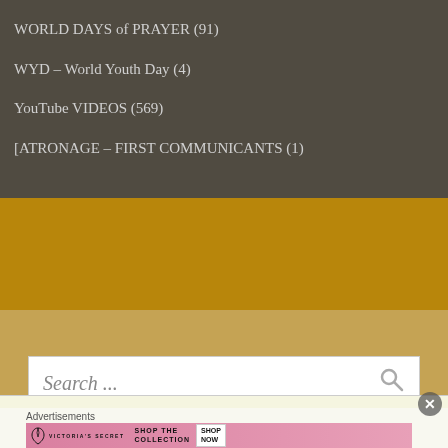WORLD DAYS of PRAYER (91)
WYD – World Youth Day (4)
YouTube VIDEOS (569)
[ATRONAGE – FIRST COMMUNICANTS (1)
[Figure (screenshot): Search box with placeholder text 'Search ...' and magnifying glass icon, on a tan/gold background]
Advertisements
[Figure (photo): Victoria's Secret advertisement banner with pink background, model, VS logo, 'SHOP THE COLLECTION' text, and 'SHOP NOW' button]